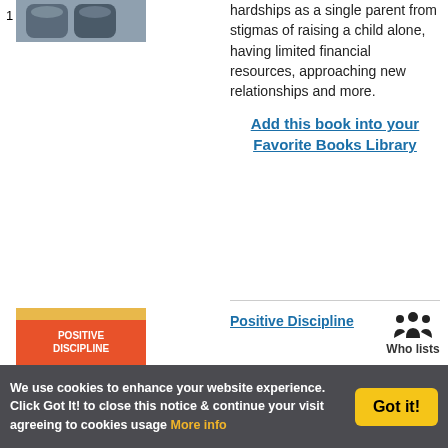1
[Figure (photo): Book cover with teapots on top]
hardships as a single parent from stigmas of raising a child alone, having limited financial resources, approaching new relationships and more.
Add this book into your Favorite Books Library
[Figure (photo): Book cover: Positive Discipline, orange and yellow]
Positive Discipline
[Figure (infographic): People/group icon - Who lists]
Who lists
We use cookies to enhance your website experience. Click Got It! to close this notice & continue your visit agreeing to cookies usage More info
Got it!